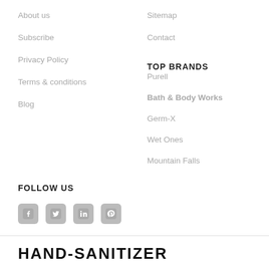About us
Subscribe
Privacy Policy
Terms & conditions
Blog
Sitemap
Contact
TOP BRANDS
Purell
Bath & Body Works
Germ-X
Wet Ones
Mountain Falls
FOLLOW US
[Figure (infographic): Social media icons: Facebook, Twitter, LinkedIn, Pinterest]
HAND-SANITIZER